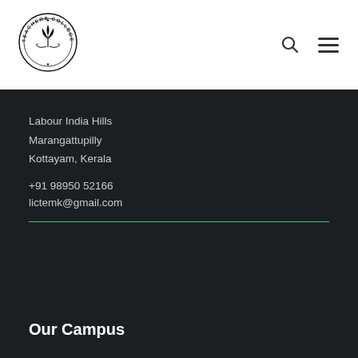[Figure (logo): Teachers College circular logo with plant/leaf emblem and text around the border]
Labour India Hills
Marangattupilly
Kottayam, Kerala
+91 98950 52166
lictemk@gmail.com
Our Campus